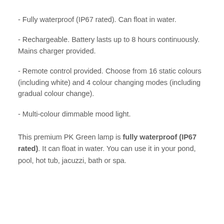- Fully waterproof (IP67 rated). Can float in water.
- Rechargeable. Battery lasts up to 8 hours continuously. Mains charger provided.
- Remote control provided. Choose from 16 static colours (including white) and 4 colour changing modes (including gradual colour change).
- Multi-colour dimmable mood light.
This premium PK Green lamp is fully waterproof (IP67 rated). It can float in water. You can use it in your pond, pool, hot tub, jacuzzi, bath or spa.